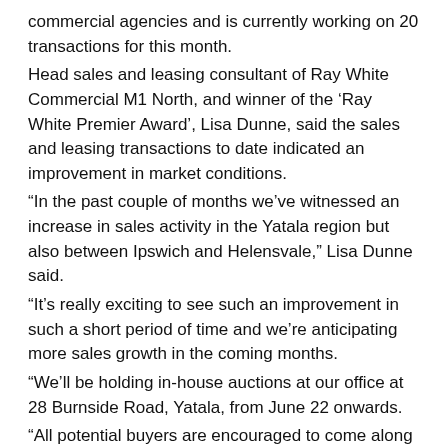commercial agencies and is currently working on 20 transactions for this month.
Head sales and leasing consultant of Ray White Commercial M1 North, and winner of the ‘Ray White Premier Award’, Lisa Dunne, said the sales and leasing transactions to date indicated an improvement in market conditions.
“In the past couple of months we’ve witnessed an increase in sales activity in the Yatala region but also between Ipswich and Helensvale,” Lisa Dunne said.
“It’s really exciting to see such an improvement in such a short period of time and we’re anticipating more sales growth in the coming months.
“We’ll be holding in-house auctions at our office at 28 Burnside Road, Yatala, from June 22 onwards.
“All potential buyers are encouraged to come along and register their interest.”
At the recent Ray White Commercial half yearly awards announced on the Gold Coast, Lisa Dunne was third overall throughout the group for settled transactions and the top performer in this